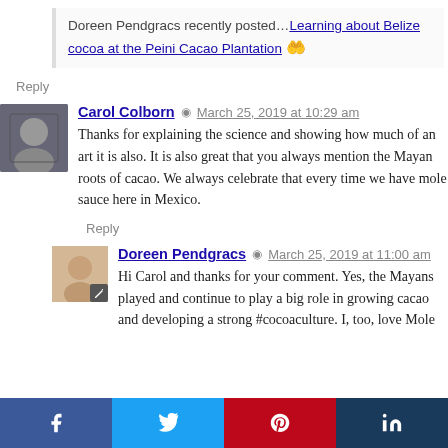Doreen Pendgracs recently posted… Learning about Belize cocoa at the Peini Cacao Plantation 🤲
Reply
Carol Colborn  🕐 March 25, 2019 at 10:29 am
Thanks for explaining the science and showing how much of an art it is also. It is also great that you always mention the Mayan roots of cacao. We always celebrate that every time we have mole sauce here in Mexico.
Reply
Doreen Pendgracs  🕐 March 25, 2019 at 11:00 am
Hi Carol and thanks for your comment. Yes, the Mayans played and continue to play a big role in growing cacao and developing a strong #cocoaculture. I, too, love Mole
f  t  p  in